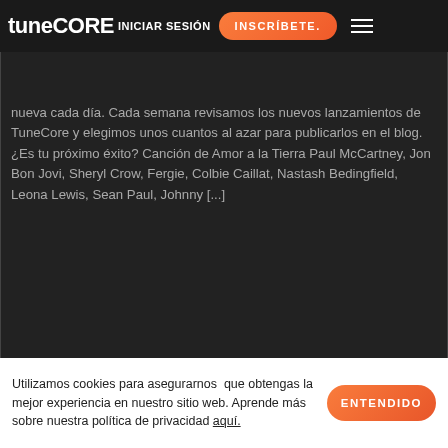tunecore INICIAR SESIÓN | INSCRÍBETE.
septiembre de 2015
nueva cada día. Cada semana revisamos los nuevos lanzamientos de TuneCore y elegimos unos cuantos al azar para publicarlos en el blog. ¿Es tu próximo éxito? Canción de Amor a la Tierra Paul McCartney, Jon Bon Jovi, Sheryl Crow, Fergie, Colbie Caillat, Nastash Bedingfield, Leona Lewis, Sean Paul, Johnny [...]
ARTISTA DESTACADO
VER POST
[Figure (photo): Sparkler light painting on black background showing colorful arc and number shapes made with sparklers]
Utilizamos cookies para asegurnarnos que obtengas la mejor experiencia en nuestro sitio web. Aprende más sobre nuestra política de privacidad aquí.
ENTENDIDO